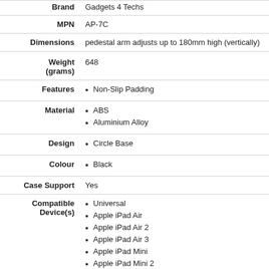| Attribute | Value |
| --- | --- |
| Brand | Gadgets 4 Techs |
| MPN | AP-7C |
| Dimensions | pedestal arm adjusts up to 180mm high (vertically) |
| Weight (grams) | 648 |
| Features | Non-Slip Padding |
| Material | ABS
Aluminium Alloy |
| Design | Circle Base |
| Colour | Black |
| Case Support | Yes |
| Compatible Device(s) | Universal
Apple iPad Air
Apple iPad Air 2
Apple iPad Air 3
Apple iPad Mini
Apple iPad Mini 2 |